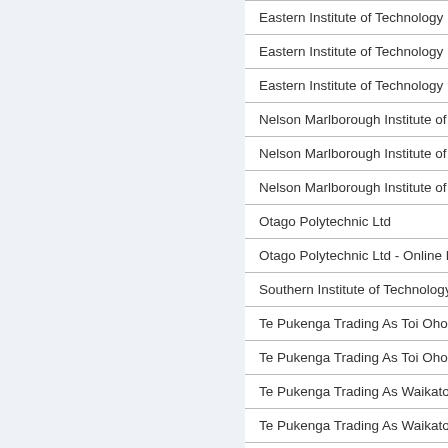Eastern Institute of Technology Ltd
Eastern Institute of Technology Ltd
Eastern Institute of Technology Ltd - Online D...
Nelson Marlborough Institute of Technology L...
Nelson Marlborough Institute of Technology L...
Nelson Marlborough Institute of Technology L...
Otago Polytechnic Ltd
Otago Polytechnic Ltd - Online Delivery
Southern Institute of Technology Ltd
Te Pukenga Trading As Toi Ohomai Institute o...
Te Pukenga Trading As Toi Ohomai Institute o...
Te Pukenga Trading As Waikato Institute of T...
Te Pukenga Trading As Waikato Institute of T...
Te Pukenga Trading As Waikato Institute of T...
Wellington Institute of Technology
Wellington Institute of Technology